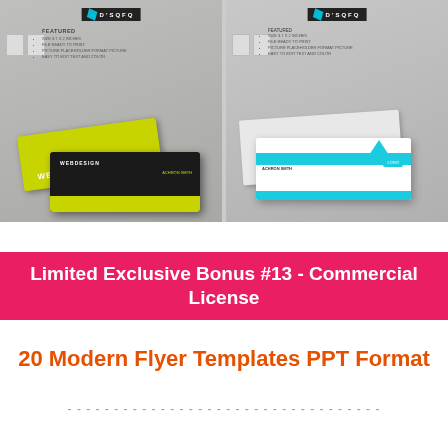[Figure (screenshot): Two business card template previews side by side. Left shows a yellow and black webdesign business card layout with D'SQFQ logo. Right shows a white and cyan business card with icons and a logo arrow.]
Limited Exclusive Bonus #13 - Commercial License
20 Modern Flyer Templates PPT Format
- - - - - - - - - - - - - - - - - - - - - - - - - - - - - - - - - -